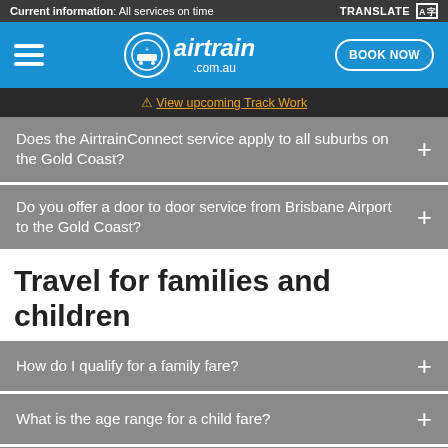Current information: All services on time
[Figure (logo): Airtrain .com.au logo with navigation bar and BOOK NOW button]
View upcoming Track Work
Does the AirtrainConnect service apply to all suburbs on the Gold Coast?
Do you offer a door to door service from Brisbane Airport to the Gold Coast?
Travel for families and children
How do I qualify for a family fare?
What is the age range for a child fare?
Is there a discount for children if I book online?